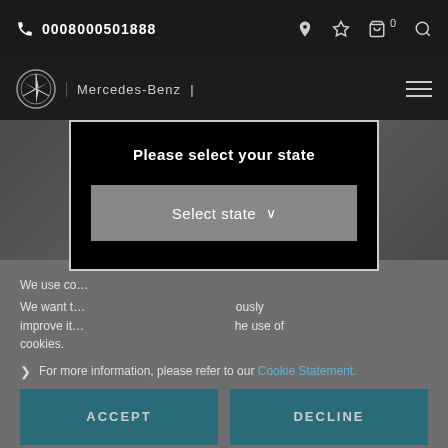0008000501888
[Figure (logo): Mercedes-Benz star logo with brand name]
[Figure (illustration): Location pin icon over dark car background]
We use co...
We want t... ously improve it... he use of cookies.
[Figure (screenshot): Modal dialog: Please select your state with dropdown Select state]
For more information, please refer to our Cookie Statement.
ACCEPT
DECLINE